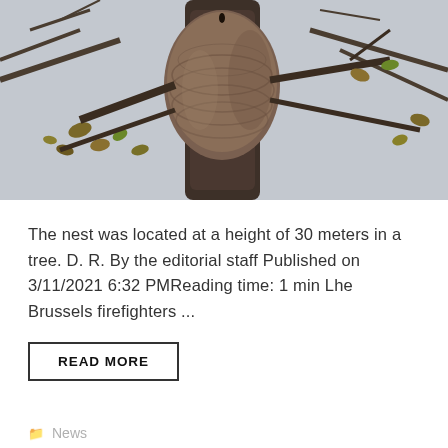[Figure (photo): A large hornet nest attached high in a bare tree with branches and some remaining autumn leaves against a pale sky background.]
The nest was located at a height of 30 meters in a tree. D. R. By the editorial staff Published on 3/11/2021 6:32 PMReading time: 1 min Lhe Brussels firefighters ...
READ MORE
News
Asian, Brussels, Destroy, hornets, impressive, Josaphat, photos